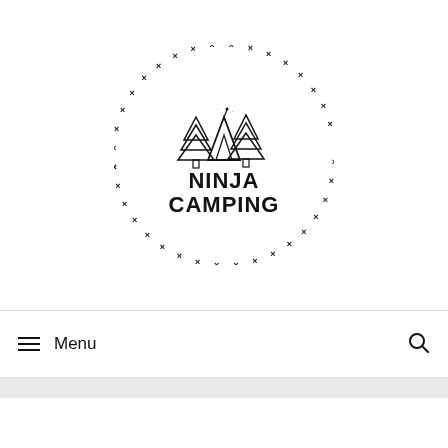[Figure (logo): Ninja Camping logo: circular border of X marks surrounding pine trees and a tent illustration above bold text reading NINJA CAMPING]
Menu
[Figure (other): Search icon (magnifying glass)]